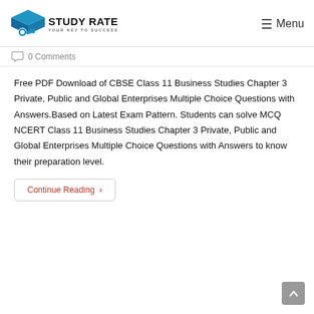[Figure (logo): Study Rate logo with graduation cap and key icon, text: STUDY RATE YOUR KEY TO SUCCESS]
0 Comments
Free PDF Download of CBSE Class 11 Business Studies Chapter 3 Private, Public and Global Enterprises Multiple Choice Questions with Answers.Based on Latest Exam Pattern. Students can solve MCQ NCERT Class 11 Business Studies Chapter 3 Private, Public and Global Enterprises Multiple Choice Questions with Answers to know their preparation level.
Continue Reading ›